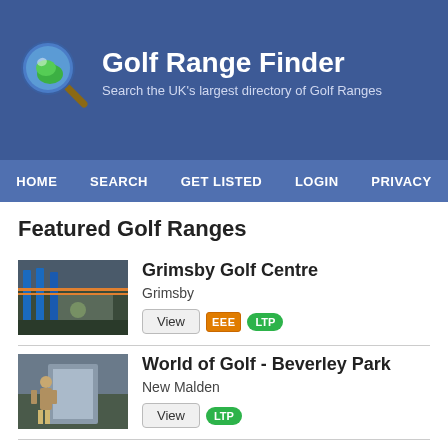[Figure (logo): Golf Range Finder logo with magnifying glass icon and site title/subtitle on blue header background]
HOME  SEARCH  GET LISTED  LOGIN  PRIVACY
Featured Golf Ranges
[Figure (photo): Interior photo of Grimsby Golf Centre driving range facility]
Grimsby Golf Centre
Grimsby
[Figure (photo): Photo of World of Golf - Beverley Park, person standing outside facility]
World of Golf - Beverley Park
New Malden